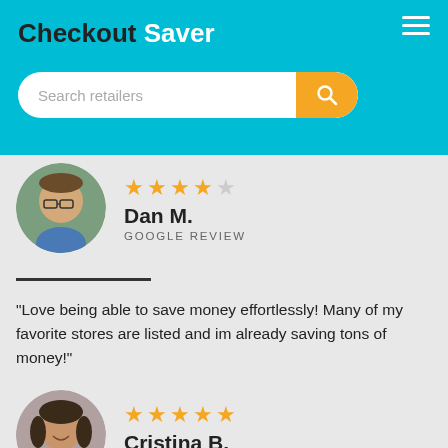Checkout Saver
[Figure (screenshot): Search bar with placeholder 'Search retailers' and orange search button]
[Figure (photo): Circular avatar photo of Dan M., a man with glasses outdoors]
Dan M.
GOOGLE REVIEW
"Love being able to save money effortlessly! Many of my favorite stores are listed and im already saving tons of money!"
[Figure (photo): Circular avatar photo of Cristina B., a woman smiling]
Cristina B.
GOOGLE REVIEW